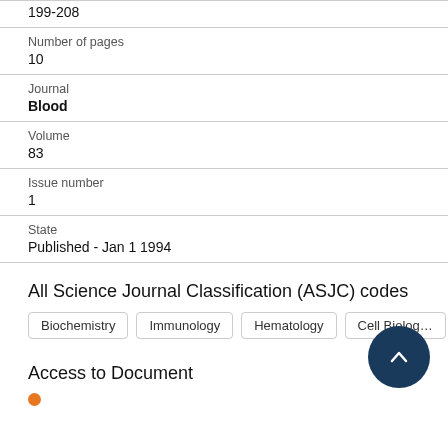199-208
Number of pages
10
Journal
Blood
Volume
83
Issue number
1
State
Published - Jan 1 1994
All Science Journal Classification (ASJC) codes
Biochemistry
Immunology
Hematology
Cell Biology
Access to Document